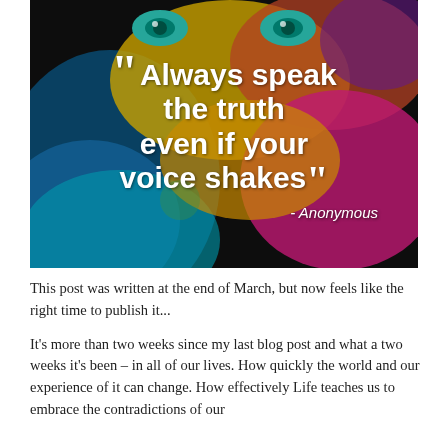[Figure (illustration): Colorful artistic photo of a face covered in vibrant paint (blue, yellow, red, pink, orange) with teal eyes visible. Large white bold text overlaid reads: “Always speak the truth even if your voice shakes” with attribution – Anonymous]
This post was written at the end of March, but now feels like the right time to publish it...
It’s more than two weeks since my last blog post and what a two weeks it’s been – in all of our lives.  How quickly the world and our experience of it can change.  How effectively Life teaches us to embrace the contradictions of our